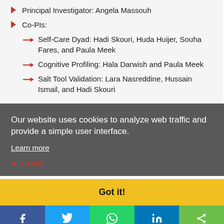Principal Investigator: Angela Massouh
Co-PIs:
Self-Care Dyad: Hadi Skouri, Huda Huijer, Souha Fares, and Paula Meek
Cognitive Profiling: Hala Darwish and Paula Meek
Salt Tool Validation: Lara Nasreddine, Hussain Ismail, and Hadi Skouri
Our website uses cookies to analyze web traffic and provide a simple user interface.
Learn more
HOME
Got it!